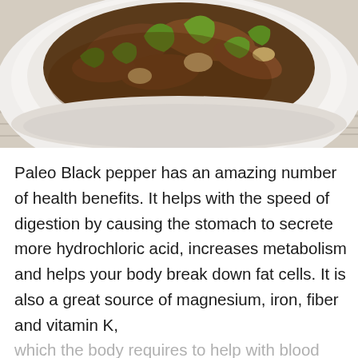[Figure (photo): Close-up photo of a dish on a white plate featuring stir-fried meat with green peppers and mushrooms in a brown sauce, set on a light wooden surface.]
Paleo Black pepper has an amazing number of health benefits. It helps with the speed of digestion by causing the stomach to secrete more hydrochloric acid, increases metabolism and helps your body break down fat cells. It is also a great source of magnesium, iron, fiber and vitamin K, which the body requires to help with blood clotting and strengthen bones.